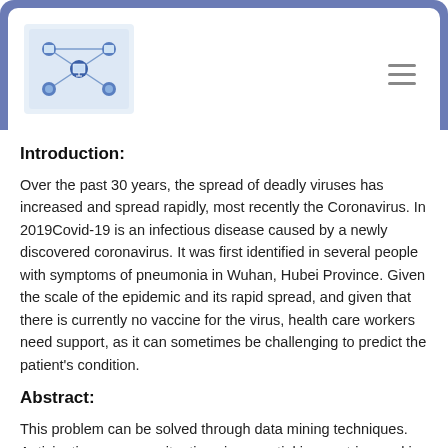Introduction:
Over the past 30 years, the spread of deadly viruses has increased and spread rapidly, most recently the Coronavirus. In 2019Covid-19 is an infectious disease caused by a newly discovered coronavirus. It was first identified in several people with symptoms of pneumonia in Wuhan, Hubei Province. Given the scale of the epidemic and its rapid spread, and given that there is currently no vaccine for the virus, health care workers need support, as it can sometimes be challenging to predict the patient's condition.
Abstract:
This problem can be solved through data mining techniques. Anticipating recovery situations is essential in countries seeking to contain the virus, and these predictions can help public health experts track positive citizens of COVID-19, increase doctors ability to predict the general perception of the course of events over a period, and assess patients at early risk building on approaches based on data analysis. This accordingly represents a vital...